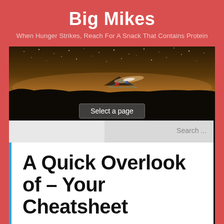Big Mikes
When Hunger Strikes, Reach For A Snack That Contains Protein
[Figure (photo): Night sky panorama photo showing a tent and silhouetted landscape under a starry sky with golden/orange horizon glow]
Select a page
Search ...
A Quick Overlook of – Your Cheatsheet
APR 5
aebi